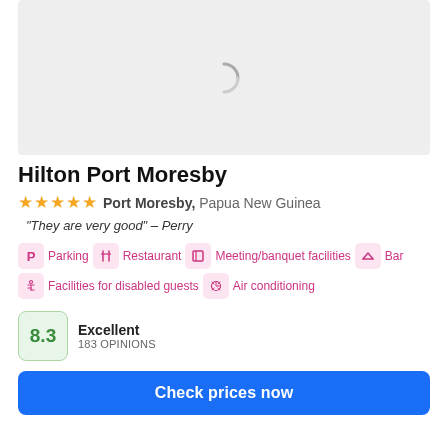[Figure (photo): Loading placeholder with spinner icon on light grey background]
Hilton Port Moresby
★★★★★ Port Moresby, Papua New Guinea
"They are very good" - Perry
Parking  Restaurant  Meeting/banquet facilities  Bar  Facilities for disabled guests  Air conditioning
8.3  Excellent  183 OPINIONS
Check prices now